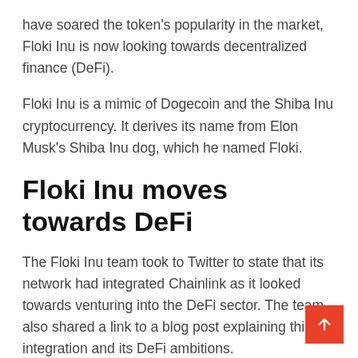have soared the token's popularity in the market, Floki Inu is now looking towards decentralized finance (DeFi).
Floki Inu is a mimic of Dogecoin and the Shiba Inu cryptocurrency. It derives its name from Elon Musk's Shiba Inu dog, which he named Floki.
Floki Inu moves towards DeFi
The Floki Inu team took to Twitter to state that its network had integrated Chainlink as it looked towards venturing into the DeFi sector. The team also shared a link to a blog post explaining this integration and its DeFi ambitions.